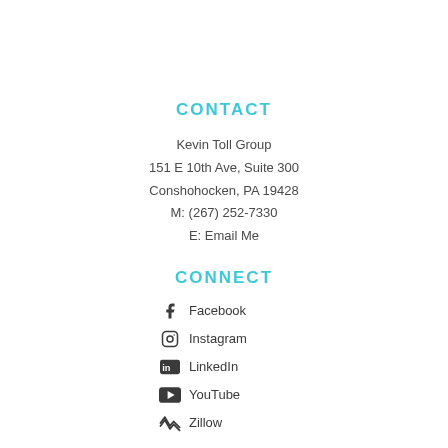CONTACT
Kevin Toll Group
151 E 10th Ave, Suite 300
Conshohocken, PA 19428
M: (267) 252-7330
E: Email Me
CONNECT
Facebook
Instagram
LinkedIn
YouTube
Zillow